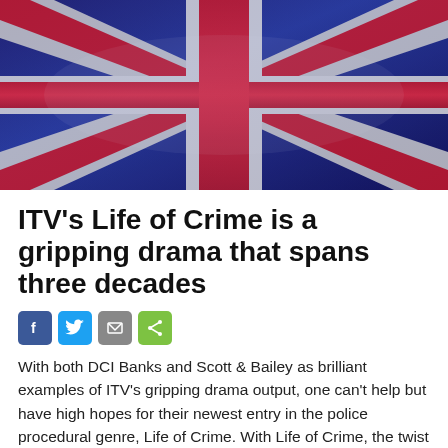[Figure (photo): Union Jack (UK flag) waving, dramatic red, white and blue colours, fabric texture visible]
ITV's Life of Crime is a gripping drama that spans three decades
[Figure (infographic): Four social sharing icon buttons: Facebook (blue), Twitter (blue), Email (grey), Share (green)]
With both DCI Banks and Scott & Bailey as brilliant examples of ITV's gripping drama output, one can't help but have high hopes for their newest entry in the police procedural genre, Life of Crime. With Life of Crime, the twist of the 3-part storyline is what takes it up a notch. Life of Crime [...]